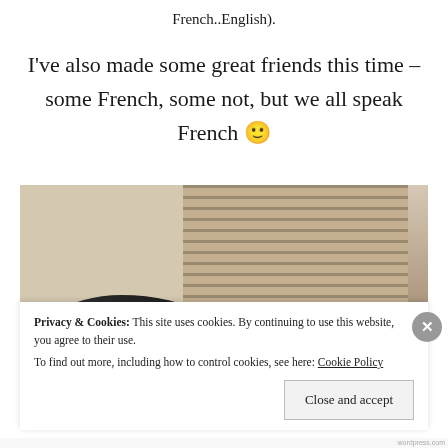French..English).
I've also made some great friends this time – some French, some not, but we all speak French 🙂
[Figure (photo): Photo of two people (seen from behind/above) in a room with window blinds and a door frame visible in the background.]
Privacy & Cookies: This site uses cookies. By continuing to use this website, you agree to their use. To find out more, including how to control cookies, see here: Cookie Policy
Close and accept